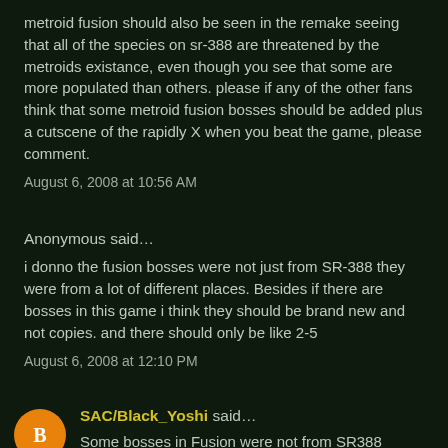metroid fusion should also be seen in the remake seeing that all of the species on sr-388 are threatened by the metroids existance, even though you see that some are more populated than others. please if any of the other fans think that some metroid fusion bosses should be added plus a cutscene of the rapidly X when you beat the game, please comment.
August 6, 2008 at 10:56 AM
Anonymous said…
i donno the fusion bosses were not just from SR-388 they were from a lot of different places. Besides if there are bosses in this game i think they should be brand new and not copies. and there should only be like 2-5
August 6, 2008 at 12:10 PM
SAC/Black_Yoshi said…
Some bosses in Fusion were not from SR388